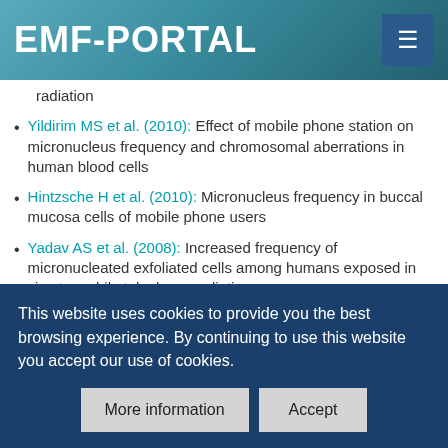EMF-PORTAL
radiation
Yildirim MS et al. (2010): Effect of mobile phone station on micronucleus frequency and chromosomal aberrations in human blood cells
Hintzsche H et al. (2010): Micronucleus frequency in buccal mucosa cells of mobile phone users
Yadav AS et al. (2008): Increased frequency of micronucleated exfoliated cells among humans exposed in vivo to mobile telephone radiations
Vijayalaxmi et al. (2008): Genetic damage in
This website uses cookies to provide you the best browsing experience. By continuing to use this website you accept our use of cookies.